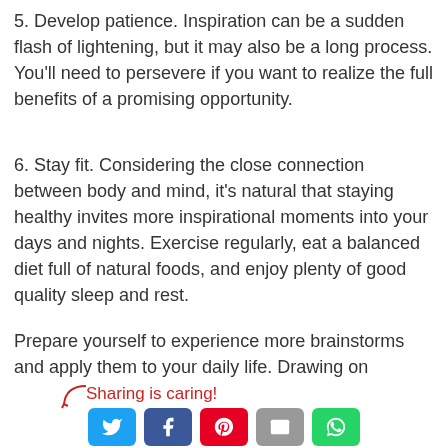5. Develop patience. Inspiration can be a sudden flash of lightening, but it may also be a long process. You'll need to persevere if you want to realize the full benefits of a promising opportunity.
6. Stay fit. Considering the close connection between body and mind, it's natural that staying healthy invites more inspirational moments into your days and nights. Exercise regularly, eat a balanced diet full of natural foods, and enjoy plenty of good quality sleep and rest.
Prepare yourself to experience more brainstorms and apply them to your daily life. Drawing on inspiration nourishes creativity and hope. You'll achieve more and find the journey more pleasant.
Sharing is caring!